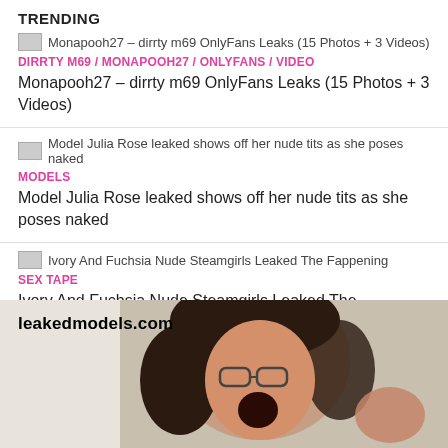TRENDING
Monapooh27 – dirrty m69 OnlyFans Leaks (15 Photos + 3 Videos)
Model Julia Rose leaked shows off her nude tits as she poses naked
Ivory And Fuchsia Nude Steamgirls Leaked The Fappening
[Figure (photo): Partial photo of a person with glasses and curly hair with leakedmodels.com watermark]